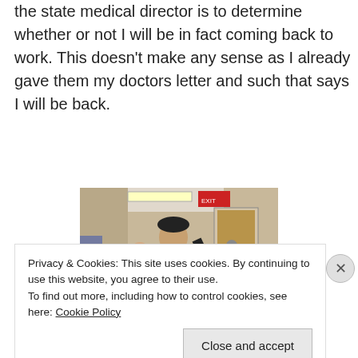the state medical director is to determine whether or not I will be in fact coming back to work. This doesn't make any sense as I already gave them my doctors letter and such that says I will be back.
[Figure (photo): Photo of a person standing in a hospital corridor ringing a bell, with others nearby.]
Privacy & Cookies: This site uses cookies. By continuing to use this website, you agree to their use. To find out more, including how to control cookies, see here: Cookie Policy